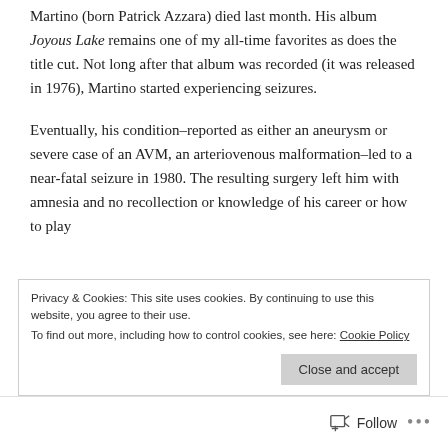Martino (born Patrick Azzara) died last month. His album Joyous Lake remains one of my all-time favorites as does the title cut. Not long after that album was recorded (it was released in 1976), Martino started experiencing seizures.
Eventually, his condition–reported as either an aneurysm or severe case of an AVM, an arteriovenous malformation–led to a near-fatal seizure in 1980. The resulting surgery left him with amnesia and no recollection or knowledge of his career or how to play
Privacy & Cookies: This site uses cookies. By continuing to use this website, you agree to their use.
To find out more, including how to control cookies, see here: Cookie Policy
Close and accept
Follow